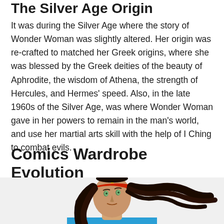The Silver Age Origin
It was during the Silver Age where the story of Wonder Woman was slightly altered. Her origin was re-crafted to matched her Greek origins, where she was blessed by the Greek deities of the beauty of Aphrodite, the wisdom of Athena, the strength of Hercules, and Hermes' speed. Also, in the late 1960s of the Silver Age, was where Wonder Woman gave in her powers to remain in the man's world, and use her martial arts skill with the help of I Ching to combat evils.
Comics Wardrobe Evolution
[Figure (illustration): Illustration of Wonder Woman with flowing dark hair, wearing a red tiara, looking upward, dressed in a blue costume. The image is cropped showing her head and upper body from approximately the chest up.]